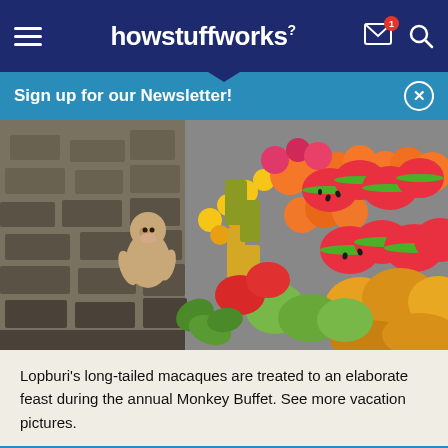howstuffworks
Sign up for our Newsletter!
[Figure (photo): A long-tailed macaque monkey sitting among a colorful elaborate display of tropical fruits including watermelon slices, pineapples, mangoes, and other fruits at the annual Monkey Buffet in Lopburi, Thailand.]
Lopburi's long-tailed macaques are treated to an elaborate feast during the annual Monkey Buffet. See more vacation pictures.
Get the HowStuffWorks Newsletter! Sign Up